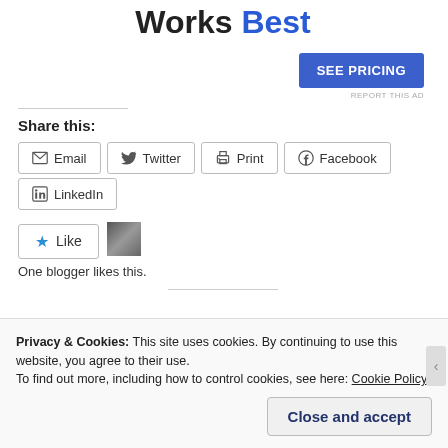Works Best
SEE PRICING
REPORT THIS AD
Share this:
Email
Twitter
Print
Facebook
LinkedIn
Like
One blogger likes this.
Privacy & Cookies: This site uses cookies. By continuing to use this website, you agree to their use.
To find out more, including how to control cookies, see here: Cookie Policy
Close and accept